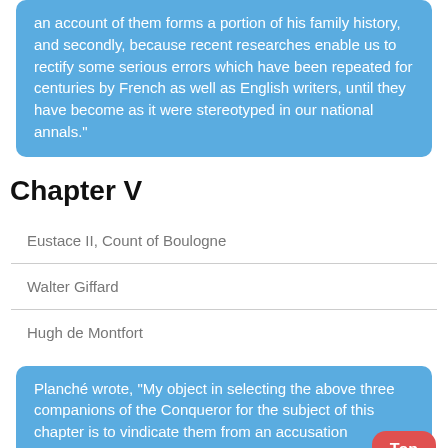an account of them forms a portion of his family history, and secondly, because recent researches enable us to rectify some serious errors which have been repeated for centuries by French as well as English writers, until they have become as it were stereotyped in our national annals."
Chapter V
| Eustace II, Count of Boulogne |
| Walter Giffard |
| Hugh de Montfort |
Planché wrote, "My object in selecting the above three companions of the Conqueror for the subject of this chapter is to vindicate them from an accusation